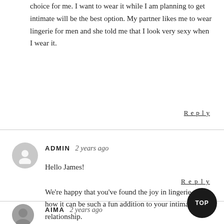choice for me. I want to wear it while I am planning to get intimate will be the best option. My partner likes me to wear lingerie for men and she told me that I look very sexy when I wear it.
Reply
ADMIN  2 years ago
Hello James!
We're happy that you've found the joy in lingerie and how it can be such a fun addition to your intimate relationship.
– THE NTL TEAM
Reply
TOP
AIMA  2 years ago